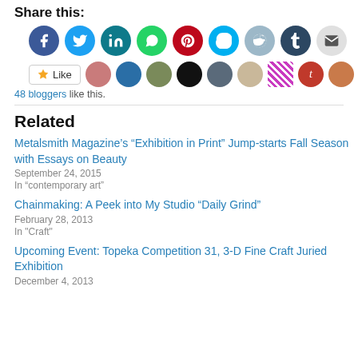Share this:
[Figure (infographic): Row of social media sharing icon buttons: Facebook (blue), Twitter (light blue), LinkedIn (teal), WhatsApp (green), Pinterest (red), Skype (blue), Reddit (light blue), Tumblr (dark blue), Email (light gray)]
[Figure (infographic): Like button with star icon followed by 11 blogger avatar thumbnails]
48 bloggers like this.
Related
Metalsmith Magazine’s “Exhibition in Print” Jump-starts Fall Season with Essays on Beauty
September 24, 2015
In “contemporary art”
Chainmaking: A Peek into My Studio “Daily Grind”
February 28, 2013
In "Craft"
Upcoming Event: Topeka Competition 31, 3-D Fine Craft Juried Exhibition
December 4, 2013